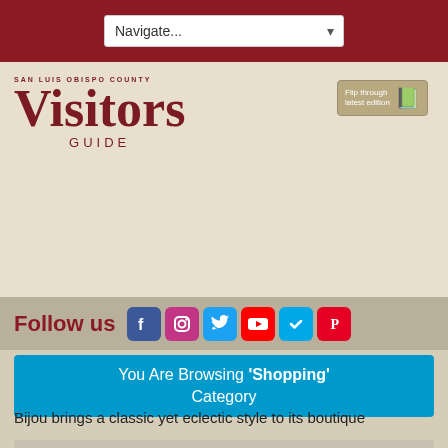Navigate...
[Figure (logo): San Luis Obispo County Visitors Guide logo with flip through latest edition button]
Follow us [Facebook] [Instagram] [Twitter] [YouTube] [Checkmark/Foursquare] [Pinterest]
You Are Browsing 'Shopping' Category
Bijou brings a classic yet eclectic style to its boutique
[Figure (photo): Woman with blonde hair in a boutique shop with decorative mirrors on the wall and clothing racks]